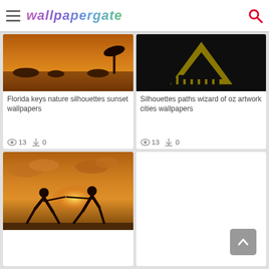wallpapergate
[Figure (photo): Sunset over water with silhouettes of rocks and palm trees in orange tones — Florida keys nature silhouettes sunset wallpaper]
Florida keys nature silhouettes sunset wallpapers
13  0
[Figure (photo): Dark background with radioactive symbol in yellow and silhouettes of people — Silhouettes paths wizard of oz artwork cities wallpaper]
Silhouettes paths wizard of oz artwork cities wallpapers
13  0
[Figure (photo): Two fencers dueling in silhouette against a golden sunset sky with clouds]